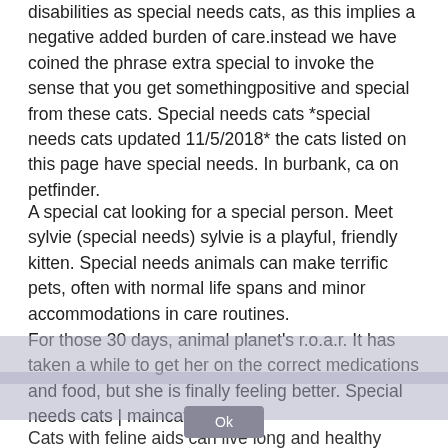disabilities as special needs cats, as this implies a negative added burden of care.instead we have coined the phrase extra special to invoke the sense that you get somethingpositive and special from these cats. Special needs cats *special needs cats updated 11/5/2018* the cats listed on this page have special needs. In burbank, ca on petfinder.
A special cat looking for a special person. Meet sylvie (special needs) sylvie is a playful, friendly kitten. Special needs animals can make terrific pets, often with normal life spans and minor accommodations in care routines.
For those 30 days, animal planet's r.o.a.r. It has taken a while to get her on the correct medications and food, but she is finally feeling better. Special needs cats | maincatscradles.
Cats with feline aids can live long and healthy lives